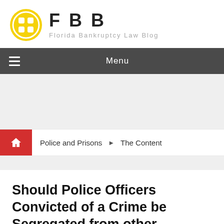[Figure (logo): FBB Florida Bankruptcy Law Blog logo — yellow circle with geometric icon, bold FBB text, gray subtitle]
Menu
Police and Prisons ▶ The Content
Should Police Officers Convicted of a Crime be Segregated from other Criminals